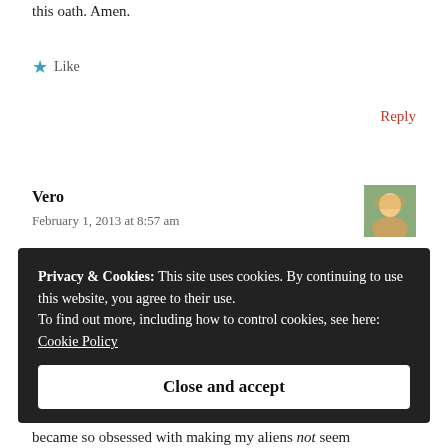this oath. Amen.
★ Like
Reply
Vero
February 1, 2013 at 8:57 am
Privacy & Cookies: This site uses cookies. By continuing to use this website, you agree to their use.
To find out more, including how to control cookies, see here:
Cookie Policy
Close and accept
became so obsessed with making my aliens not seem